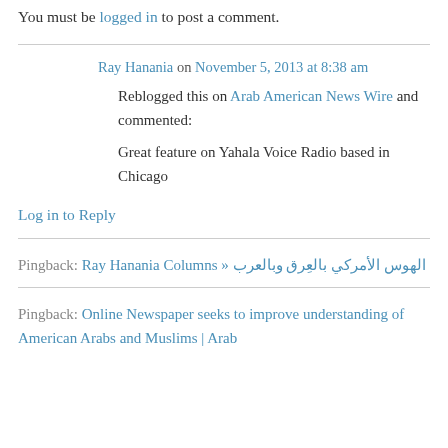You must be logged in to post a comment.
Ray Hanania on November 5, 2013 at 8:38 am
Reblogged this on Arab American News Wire and commented:
Great feature on Yahala Voice Radio based in Chicago
Log in to Reply
Pingback: الهوس الأمركي بالعرق وبالعرب « Ray Hanania Columns
Pingback: Online Newspaper seeks to improve understanding of American Arabs and Muslims | Arab